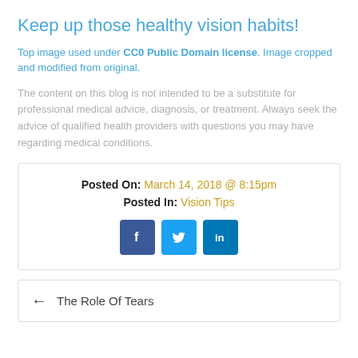Keep up those healthy vision habits!
Top image used under CC0 Public Domain license. Image cropped and modified from original.
The content on this blog is not intended to be a substitute for professional medical advice, diagnosis, or treatment. Always seek the advice of qualified health providers with questions you may have regarding medical conditions.
Posted On: March 14, 2018 @ 8:15pm
Posted In: Vision Tips
[Figure (other): Social media share buttons: Facebook, Twitter, LinkedIn]
← The Role Of Tears